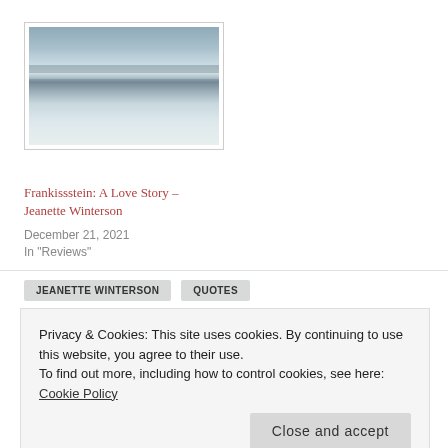[Figure (photo): A snow and ice landscape or frozen seascape, showing layered ice/snow with dark and light bands, framed with a thin border.]
Frankissstein: A Love Story – Jeanette Winterson
December 21, 2021
In "Reviews"
JEANETTE WINTERSON
QUOTES
WHY BE HAPPY WHEN YOU COULD BE NORMAL
Privacy & Cookies: This site uses cookies. By continuing to use this website, you agree to their use.
To find out more, including how to control cookies, see here: Cookie Policy
Close and accept
January Round Up